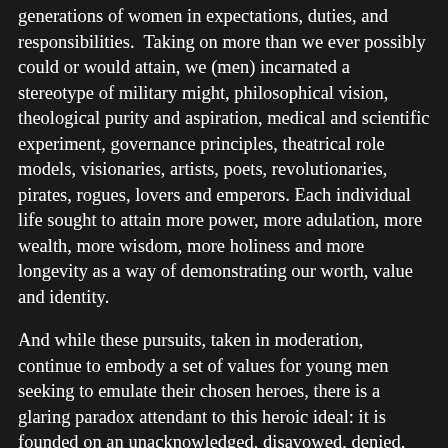generations of women in expectations, duties, and responsibilities.  Taking on more than we ever possibly could or would attain, we (men) incarnated a stereotype of military might, philosophical vision, theological purity and aspiration, medical and scientific experiment, governance principles, theatrical role models, visionaries, artists, poets, revolutionaries, pirates, rogues, lovers and emperors. Each individual life sought to attain more power, more adulation, more wealth, more wisdom, more holiness and more longevity as a way of demonstrating our worth, value and identity.
And while these pursuits, taken in moderation, continue to embody a set of values for young men seeking to emulate their chosen heroes, there is a glaring paradox attendant to this heroic ideal: it is founded on an unacknowledged, disavowed, denied, disparaged, and thereby highly impactful neurosis, fear, vulnerability and especially the more deep and dangerous anxiety of being ‘found out’ for our vulnerability. It is not enough to paint male characters in